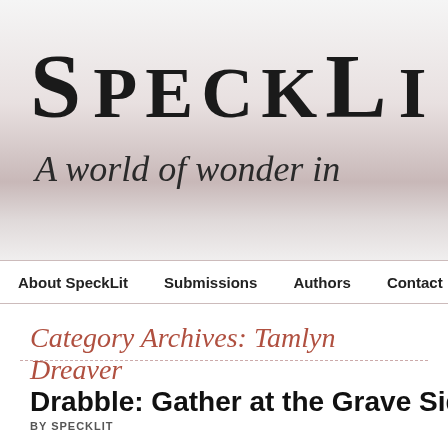[Figure (logo): SpeckLit website header banner with large bold serif text 'SpeckLit' and italic tagline 'A world of wonder in' on a gradient background ranging from light grey to pinkish-grey]
About SpeckLit | Submissions | Authors | Contact
Category Archives: Tamlyn Dreaver
Drabble: Gather at the Grave Side – by
BY SPECKLIT